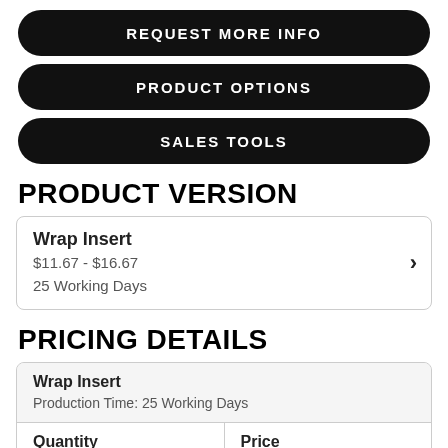REQUEST MORE INFO
PRODUCT OPTIONS
SALES TOOLS
PRODUCT VERSION
Wrap Insert
$11.67 - $16.67
25 Working Days
PRICING DETAILS
| Quantity | Price |
| --- | --- |